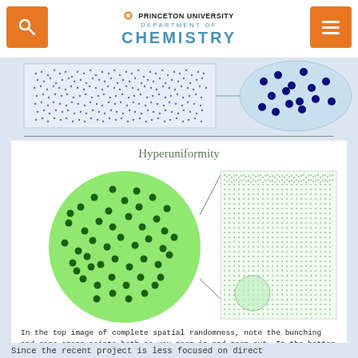Princeton University Department of Chemistry
[Figure (illustration): Top portion showing complete spatial randomness: left panel is a dense scatter of tiny blue dots in a rectangle, right panel is a zoomed-in circle showing sparse larger blue dots on light blue background with a connecting line.]
Hyperuniformity
[Figure (illustration): Bottom illustration of hyperuniformity: left panel is a large green circle filled with scattered dark green dots at medium density; right panel is a square filled with very dense tiny green dots (appearing almost uniform), with a small green circle zoom region at bottom-left connected by lines to the left panel.]
In the top image of complete spatial randomness, note the bunching and gaps among points both as you zoom-in and zoom-out. In the bottom image of a hyperuniform distribution, note that as you zoom-out the distribution looks much less messy.
Diagram courtesy of the authors
Since the recent project is less focused on direct